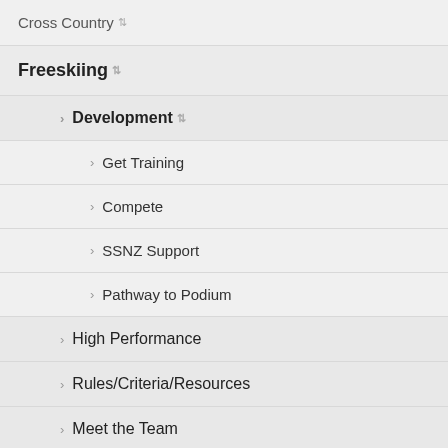Cross Country ↕
Freeskiing ↕
› Development ↕
› Get Training
› Compete
› SSNZ Support
› Pathway to Podium
› High Performance
› Rules/Criteria/Resources
› Meet the Team